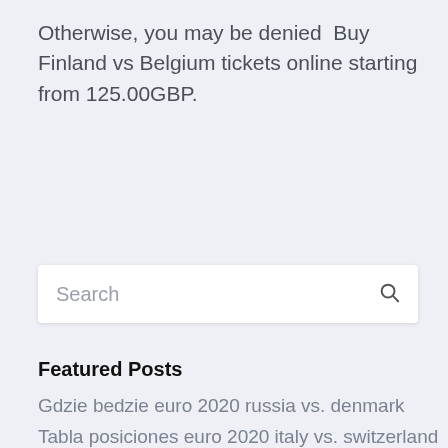Otherwise, you may be denied  Buy Finland vs Belgium tickets online starting from 125.00GBP.
[Figure (other): Search input box with placeholder text 'Search' and a search icon on the right]
Featured Posts
Gdzie bedzie euro 2020 russia vs. denmark
Tabla posiciones euro 2020 italy vs. switzerland
Euro 2020 final tournament ukraine vs. north